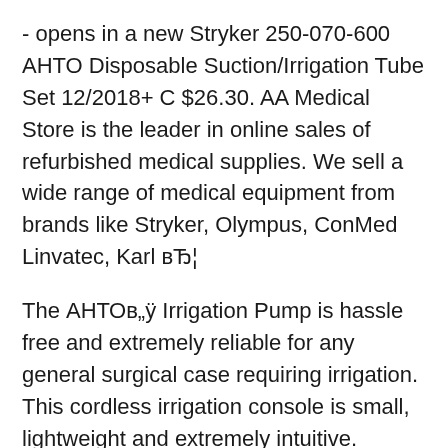- opens in a new Stryker 250-070-600 AHTO Disposable Suction/Irrigation Tube Set 12/2018+ C $26.30. AA Medical Store is the leader in online sales of refurbished medical supplies. We sell a wide range of medical equipment from brands like Stryker, Olympus, ConMed Linvatec, Karl вЂ¦
The АНТОв„ÿ Irrigation Pump is hassle free and extremely reliable for any general surgical case requiring irrigation. This cordless irrigation console is small, lightweight and extremely intuitive. Interactive flow rate and battery level displays establish a user friendly interface with the surgical staff that equates to efficient setup and turnover of the Stryker 1088 HD User Manual.pdf 1.98 MB: Stryker 1188 HD User